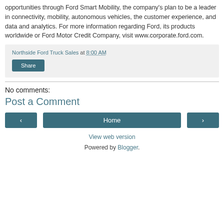opportunities through Ford Smart Mobility, the company's plan to be a leader in connectivity, mobility, autonomous vehicles, the customer experience, and data and analytics. For more information regarding Ford, its products worldwide or Ford Motor Credit Company, visit www.corporate.ford.com.
Northside Ford Truck Sales at 8:00 AM
Share
No comments:
Post a Comment
‹
Home
›
View web version
Powered by Blogger.